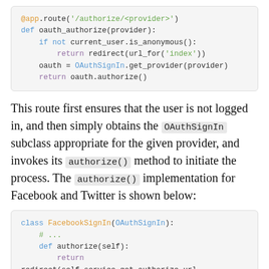[Figure (screenshot): Python code block showing @app.route('/authorize/<provider>') and oauth_authorize function]
This route first ensures that the user is not logged in, and then simply obtains the OAuthSignIn subclass appropriate for the given provider, and invokes its authorize() method to initiate the process. The authorize() implementation for Facebook and Twitter is shown below:
[Figure (screenshot): Python code block showing class FacebookSignIn(OAuthSignIn) with authorize method returning redirect with scope='email', response_type='code']